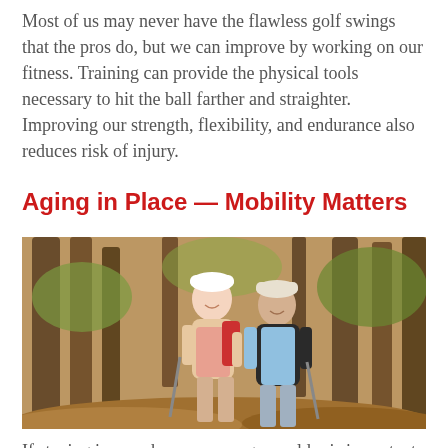Most of us may never have the flawless golf swings that the pros do, but we can improve by working on our fitness. Training can provide the physical tools necessary to hit the ball farther and straighter. Improving our strength, flexibility, and endurance also reduces risk of injury.
Aging in Place — Mobility Matters
[Figure (photo): An older couple smiling and hiking through a forest with trees and autumn foliage. The woman wears a white hat and light vest, the man wears a white cap and light blue jacket. Both carry walking sticks.]
If staying in your home as you grow older is important to you, make sure you maintain your strength and mobility so that you're able to physically do the things you need to